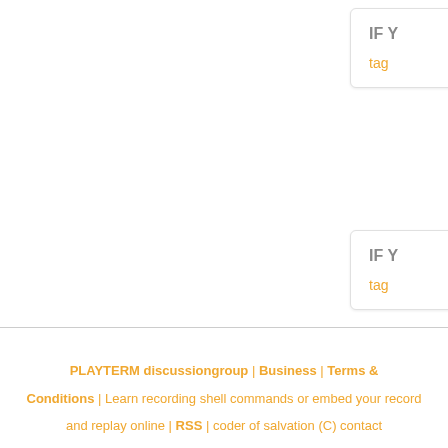[Figure (screenshot): Partial card widget top-right showing 'IF Y' text in gray and 'tag' in orange, cut off at right edge]
[Figure (screenshot): Partial card widget second top-right showing 'IF Y' text in gray and 'tag' in orange, cut off at right edge]
PLAYTERM discussiongroup | Business | Terms & Conditions | Learn recording shell commands or embed your record and replay online | RSS | coder of salvation (C) contact